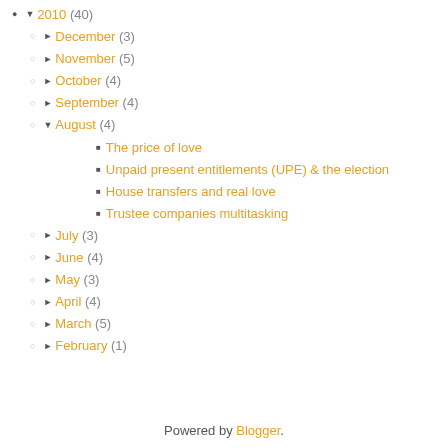2010 (40)
December (3)
November (5)
October (4)
September (4)
August (4)
The price of love
Unpaid present entitlements (UPE) & the election
House transfers and real love
Trustee companies multitasking
July (3)
June (4)
May (3)
April (4)
March (5)
February (1)
Powered by Blogger.